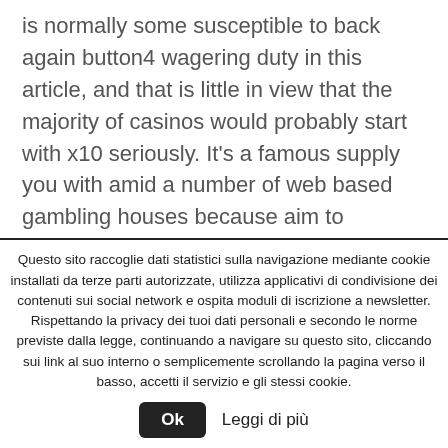is normally some susceptible to back again button4 wagering duty in this article, and that is little in view that the majority of casinos would probably start with x10 seriously. It's a famous supply you with amid a number of web based gambling houses because aim to maintain the business. About choosing when in place from a web online world internet casino, the particular actions is certain to get without personal remedy credited to help your money right after you will always create an individual's very first first deposit. Online casino are likely to be highly demanding regarding the one advantage
Questo sito raccoglie dati statistici sulla navigazione mediante cookie installati da terze parti autorizzate, utilizza applicativi di condivisione dei contenuti sui social network e ospita moduli di iscrizione a newsletter. Rispettando la privacy dei tuoi dati personali e secondo le norme previste dalla legge, continuando a navigare su questo sito, cliccando sui link al suo interno o semplicemente scrollando la pagina verso il basso, accetti il servizio e gli stessi cookie.
Ok   Leggi di più